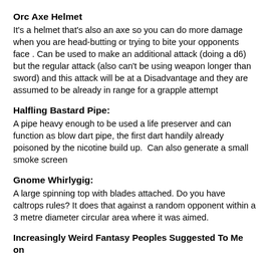Orc Axe Helmet
It's a helmet that's also an axe so you can do more damage when you are head-butting or trying to bite your opponents face . Can be used to make an additional attack (doing a d6) but the regular attack (also can't be using weapon longer than sword) and this attack will be at a Disadvantage and they are assumed to be already in range for a grapple attempt
Halfling Bastard Pipe:
A pipe heavy enough to be used a life preserver and can function as blow dart pipe, the first dart handily already poisoned by the nicotine build up.  Can also generate a small smoke screen
Gnome Whirlygig:
A large spinning top with blades attached. Do you have caltrops rules? It does that against a random opponent within a 3 metre diameter circular area where it was aimed.
Increasingly Weird Fantasy Peoples Suggested To Me on